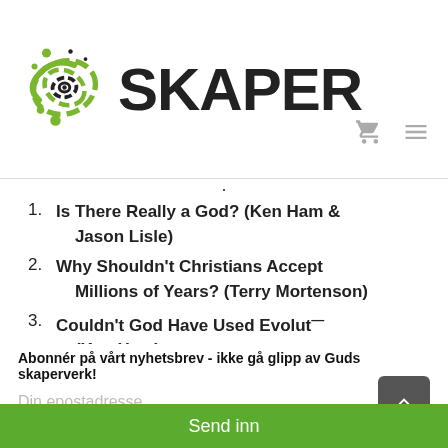[Figure (logo): Skaper logo with swirling galaxy icon in black and green, followed by bold text SKAPER]
1. Is There Really a God? (Ken Ham & Jason Lisle)
2. Why Shouldn't Christians Accept Millions of Years? (Terry Mortenson)
3. Couldn't God Have Used Evolut... (Ken Ham)
Abonnér på vårt nyhetsbrev - ikke gå glipp av Guds skaperverk!
Din epostadresse...
Send inn